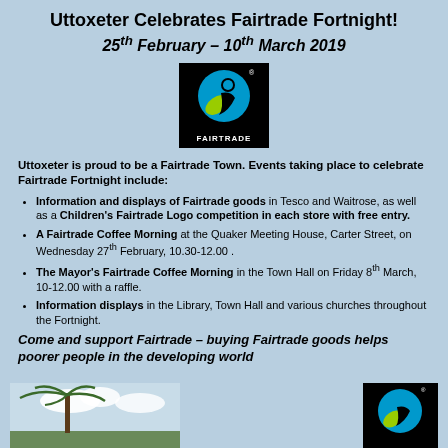Uttoxeter Celebrates Fairtrade Fortnight!
25th February – 10th March 2019
[Figure (logo): Fairtrade logo — black square with blue and green symbol and FAIRTRADE text]
Uttoxeter is proud to be a Fairtrade Town. Events taking place to celebrate Fairtrade Fortnight include:
Information and displays of Fairtrade goods in Tesco and Waitrose, as well as a Children's Fairtrade Logo competition in each store with free entry.
A Fairtrade Coffee Morning at the Quaker Meeting House, Carter Street, on Wednesday 27th February, 10.30-12.00 .
The Mayor's Fairtrade Coffee Morning in the Town Hall on Friday 8th March, 10-12.00 with a raffle.
Information displays in the Library, Town Hall and various churches throughout the Fortnight.
Come and support Fairtrade – buying Fairtrade goods helps poorer people in the developing world
[Figure (photo): Photo of a tropical tree against a sky background]
[Figure (logo): Fairtrade logo — black square with blue and green symbol]